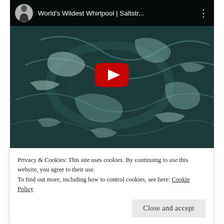[Figure (screenshot): YouTube video embed showing 'World's Wildest Whirlpool | Saltstr...' with an ocean whirlpool thumbnail, play button, and channel avatar]
Privacy & Cookies: This site uses cookies. By continuing to use this website, you agree to their use.
To find out more, including how to control cookies, see here: Cookie Policy
Close and accept
SALTSTRAUMEN MAELSTROM